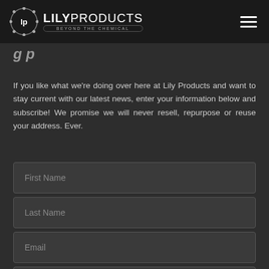LILY PRODUCTS — BEYOND THE CHEMICAL
If you like what we're doing over here at Lily Products and want to stay current with our latest news, enter your information below and subscribe! We promise we will never resell, repurpose or reuse your address. Ever.
First Name
Last Name
Email
Email Format: html (selected) text mobile